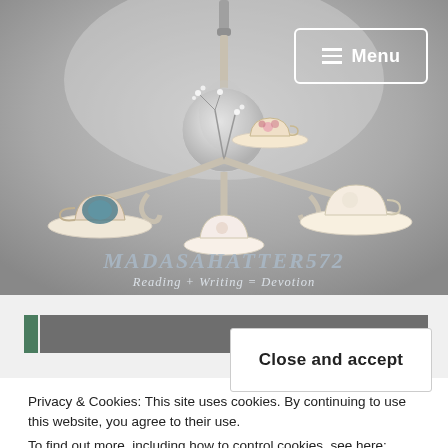[Figure (photo): Hero image of a decorative chandelier adorned with vintage teacups and saucers on a muted gray background. Site title 'MADASAHATTER572' and tagline 'Reading + Writing = Devotion' overlaid on the image. A hamburger Menu button in white border top right.]
Privacy & Cookies: This site uses cookies. By continuing to use this website, you agree to their use.
To find out more, including how to control cookies, see here: Cookie Policy
Close and accept
PUEBLO MICHIGAN I